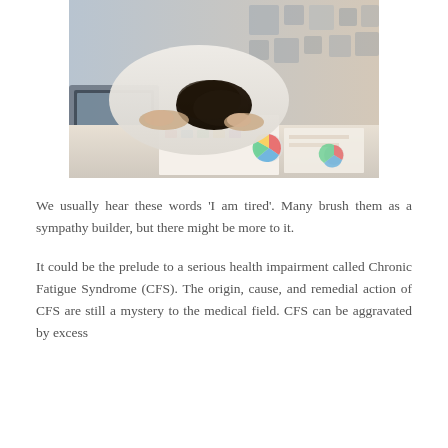[Figure (photo): A person with dark hair resting their head face-down on a desk covered with papers and charts, next to a laptop. The office background is blurred. The image suggests exhaustion or fatigue.]
We usually hear these words 'I am tired'. Many brush them as a sympathy builder, but there might be more to it.
It could be the prelude to a serious health impairment called Chronic Fatigue Syndrome (CFS). The origin, cause, and remedial action of CFS are still a mystery to the medical field. CFS can be aggravated by excess